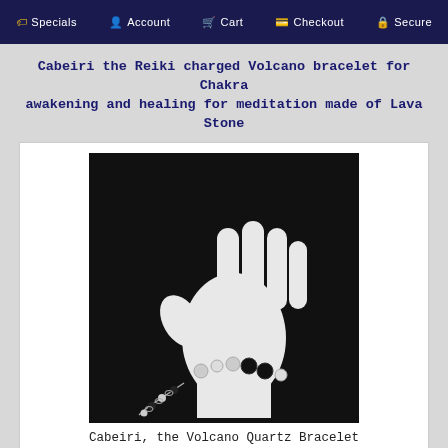Specials   Account   Cart   Checkout   Secure
Cabeiri the Reiki charged Volcano bracelet for Chakra awakening and healing for meditation made of Lava Stone
[Figure (photo): A white mannequin hand displaying the Cabeiri Volcano Quartz Bracelet with black lava stones and clear quartz beads on a dark background.]
Cabeiri, the Volcano Quartz Bracelet
$40.48
Add To Cart